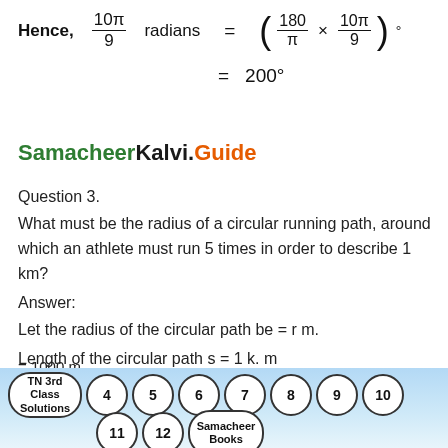SamacheerKalvi.Guide
Question 3.
What must be the radius of a circular running path, around which an athlete must run 5 times in order to describe 1 km?
Answer:
Let the radius of the circular path be = r m.
Length of the circular path s = 1 k. m
= 1000 m